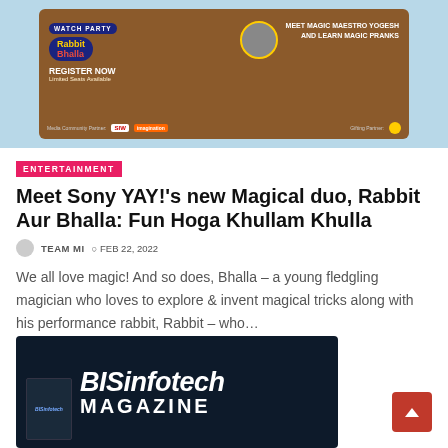[Figure (illustration): Sony YAY Watch Party promotional banner featuring Rabbit Aur Bhalla show, with register now text and sponsor logos]
ENTERTAINMENT
Meet Sony YAY!'s new Magical duo, Rabbit Aur Bhalla: Fun Hoga Khullam Khulla
TEAM MI  FEB 22, 2022
We all love magic! And so does, Bhalla – a young fledgling magician who loves to explore & invent magical tricks along with his performance rabbit, Rabbit – who…
[Figure (logo): BISinfotech Magazine logo on dark background]
[Figure (illustration): Scroll to top button (red arrow button)]